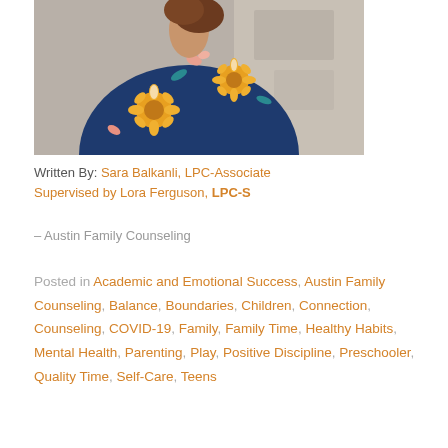[Figure (photo): Photo of a woman wearing a navy blue floral dress with sunflower pattern, photographed from the shoulders down, against a stone background.]
Written By: Sara Balkanli, LPC-Associate Supervised by Lora Ferguson, LPC-S
– Austin Family Counseling
Posted in Academic and Emotional Success, Austin Family Counseling, Balance, Boundaries, Children, Connection, Counseling, COVID-19, Family, Family Time, Healthy Habits, Mental Health, Parenting, Play, Positive Discipline, Preschooler, Quality Time, Self-Care, Teens